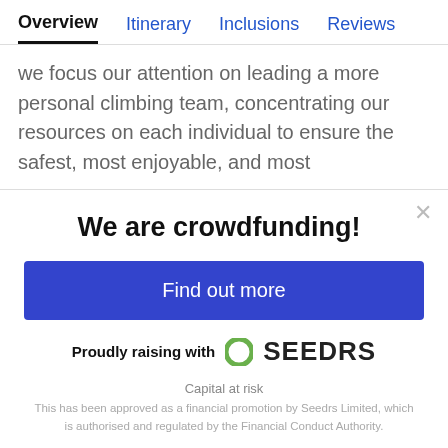Overview  Itinerary  Inclusions  Reviews
we focus our attention on leading a more personal climbing team, concentrating our resources on each individual to ensure the safest, most enjoyable, and most
We are crowdfunding!
Find out more
Proudly raising with SEEDRS
Capital at risk
This has been approved as a financial promotion by Seedrs Limited, which is authorised and regulated by the Financial Conduct Authority.